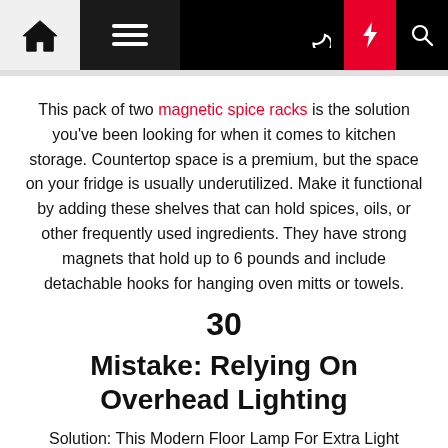Navigation bar with home, menu, dark mode, lightning/flash, and search icons
This pack of two magnetic spice racks is the solution you've been looking for when it comes to kitchen storage. Countertop space is a premium, but the space on your fridge is usually underutilized. Make it functional by adding these shelves that can hold spices, oils, or other frequently used ingredients. They have strong magnets that hold up to 6 pounds and include detachable hooks for hanging oven mitts or towels.
30
Mistake: Relying On Overhead Lighting
Solution: This Modern Floor Lamp For Extra Light